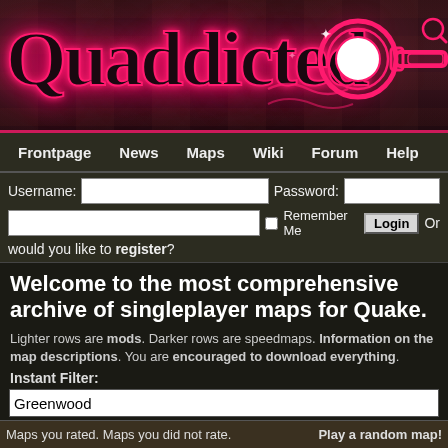[Figure (logo): Quaddicted neon logo banner with pink glowing text on dark brick background with decorative pink gun/weapon accent]
Frontpage  News  Maps  Wiki  Forum  Help
Username: [input] Password: [input] [checkbox] Remember Me [Login] Or would you like to register?
Welcome to the most comprehensive archive of singleplayer maps for Quake.
Lighter rows are mods. Darker rows are speedmaps. Information on the map descriptions. You are encouraged to download everything.
Instant Filter:
Greenwood
Maps you rated. Maps you did not rate. Play a random map!
| Author(s)↕ | Title↕ | Size↕ | Date DMY↕ |
| --- | --- | --- | --- |
| Fairweather, |  |  |  |
Fairweather,